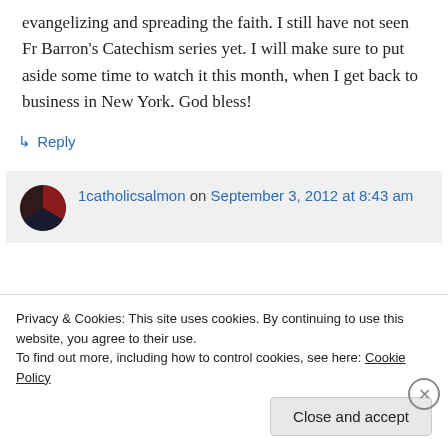evangelizing and spreading the faith. I still have not seen Fr Barron's Catechism series yet. I will make sure to put aside some time to watch it this month, when I get back to business in New York. God bless!
↳ Reply
1catholicsalmon on September 3, 2012 at 8:43 am
Privacy & Cookies: This site uses cookies. By continuing to use this website, you agree to their use.
To find out more, including how to control cookies, see here: Cookie Policy
Close and accept